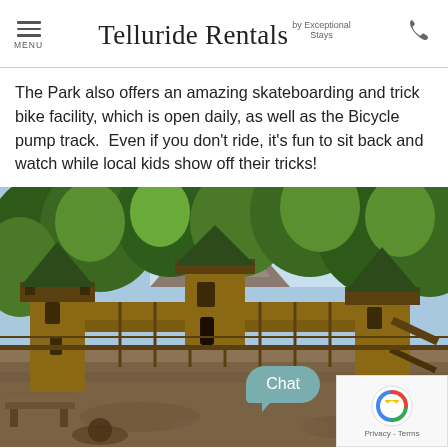Telluride Rentals by Exceptional Stays
The Park also offers an amazing skateboarding and trick bike facility, which is open daily, as well as the Bicycle pump track.  Even if you don't ride, it's fun to sit back and watch while local kids show off their tricks!
[Figure (photo): Outdoor playground with castle-style wooden play structure, surrounded by tall green trees with mountains visible in the background. A chat bubble and reCAPTCHA widget are overlaid in the lower right corner.]